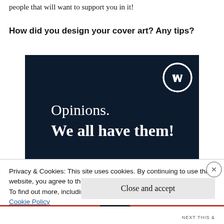people that will want to support you in it!
How did you design your cover art? Any tips?
[Figure (screenshot): A dark navy blue promotional image with the WordPress logo (circle with W) in the top right. Text reads 'Opinions.' in regular weight and 'We all have them!' in bold white text. Bottom shows partial pink/red button and a white circle element.]
Privacy & Cookies: This site uses cookies. By continuing to use this website, you agree to their use.
To find out more, including how to control cookies, see here:
Cookie Policy
Close and accept